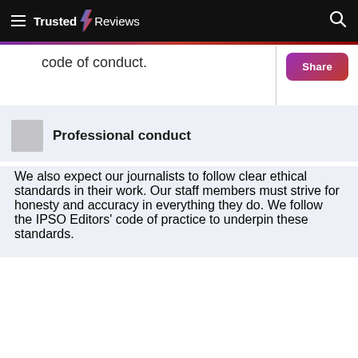Trusted Reviews
code of conduct.
Professional conduct
We also expect our journalists to follow clear ethical standards in their work. Our staff members must strive for honesty and accuracy in everything they do. We follow the IPSO Editors' code of practice to underpin these standards.